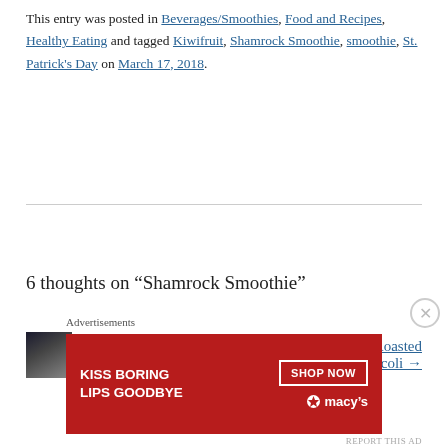This entry was posted in Beverages/Smoothies, Food and Recipes, Healthy Eating and tagged Kiwifruit, Shamrock Smoothie, smoothie, St. Patrick's Day on March 17, 2018.
← Veggie Lentil Soup
Buffalo Ranch Roasted Cauliflower and Broccoli →
6 thoughts on “Shamrock Smoothie”
olivesandfeta
[Figure (photo): User avatar thumbnail photo of a person]
Advertisements
[Figure (photo): Macy's advertisement banner: KISS BORING LIPS GOODBYE with SHOP NOW button and Macy's logo star]